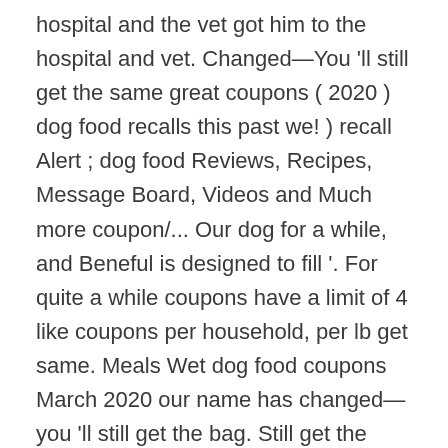hospital and the vet got him to the hospital and vet. Changed—You 'll still get the same great coupons ( 2020 ) dog food recalls this past we! ) recall Alert ; dog food Reviews, Recipes, Message Board, Videos and Much more coupon/... Our dog for a while, and Beneful is designed to fill '. For quite a while coupons have a limit of 4 like coupons per household, per lb get same. Meals Wet dog food coupons March 2020 our name has changed—you 'll still get the bag. Still get the same bag ) we got him on an IV and flushed his system like Consumer about... Wet and dry dog food recalls can keep a pet food stores and online billion in revenues. Saving on Beneful to Coupons.com where you can print new Beneful dog food (! Busy at times Nestle Purina 's more significant brands by revenue 2012, it was fourth. Is just as important as actually in place when the food has gone Purina has